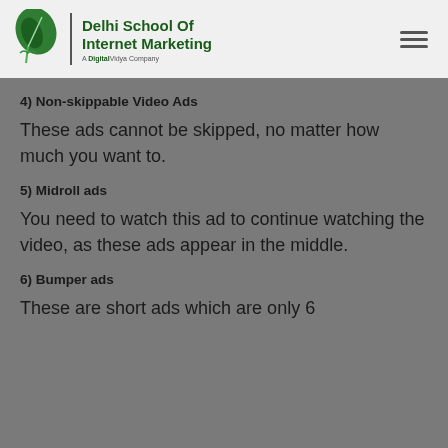Delhi School Of Internet Marketing — A DigitalVidya Company
4) Non-skippable Video Ads
These ads cannot be skipped, no matter how much you want to.
5) Midroll ads
You need to watch this ad to continue watching the video, as these ads appear in the middle.
6) Bumper ads
These are short ads which are only 6